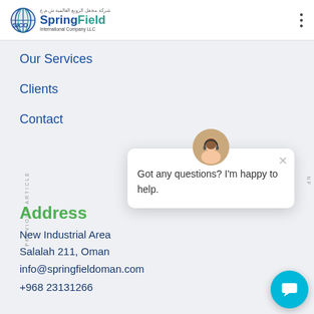[Figure (logo): SpringField International Company LLC logo with globe icon, Arabic text, SICO label]
Our Services
Clients
Contact
Address
New Industrial Area
Salalah 211, Oman
info@springfieldoman.com
+968 23131266
[Figure (screenshot): Chat popup with agent avatar saying: Got any questions? I'm happy to help.]